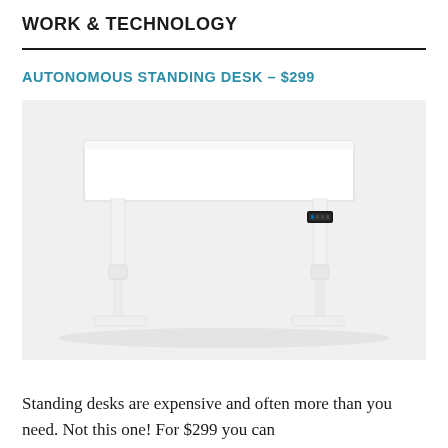WORK & TECHNOLOGY
AUTONOMOUS STANDING DESK – $299
[Figure (photo): White adjustable standing desk with electric motor legs on a light gray background. The desk has a white rectangular top surface and two white metal legs with a control panel on the right leg. The legs have a telescoping design and flat base feet.]
Standing desks are expensive and often more than you need. Not this one! For $299 you can